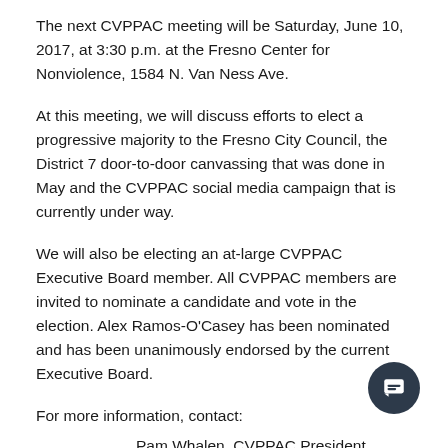The next CVPPAC meeting will be Saturday, June 10, 2017, at 3:30 p.m. at the Fresno Center for Nonviolence, 1584 N. Van Ness Ave.
At this meeting, we will discuss efforts to elect a progressive majority to the Fresno City Council, the District 7 door-to-door canvassing that was done in May and the CVPPAC social media campaign that is currently under way.
We will also be electing an at-large CVPPAC Executive Board member. All CVPPAC members are invited to nominate a candidate and vote in the election. Alex Ramos-O'Casey has been nominated and has been unanimously endorsed by the current Executive Board.
For more information, contact:
Pam Whalen, CVPPAC President